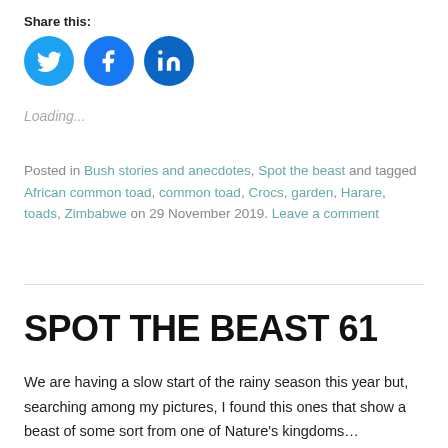Share this:
[Figure (illustration): Three social media sharing icons: Twitter (blue bird), Facebook (blue f), LinkedIn (blue in)]
Loading...
Posted in Bush stories and anecdotes, Spot the beast and tagged African common toad, common toad, Crocs, garden, Harare, toads, Zimbabwe on 29 November 2019. Leave a comment
SPOT THE BEAST 61
We are having a slow start of the rainy season this year but, searching among my pictures, I found this ones that show a beast of some sort from one of Nature's kingdoms…